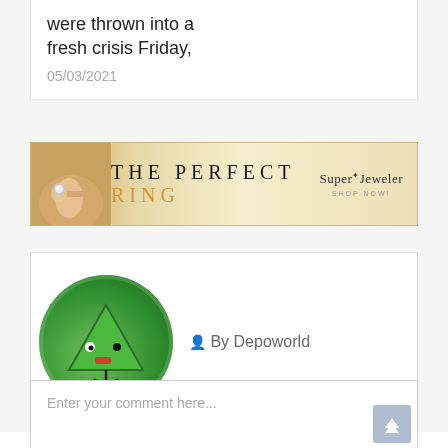were thrown into a fresh crisis Friday,
05/03/2021
[Figure (illustration): Advertisement banner for SuperJeweler showing 'THE PERFECT RING' text with a hand wearing a diamond ring on the left side.]
[Figure (illustration): Author avatar: circular green cartoon character. By Depoworld.]
By Depoworld
обговорення:
Enter your comment here...